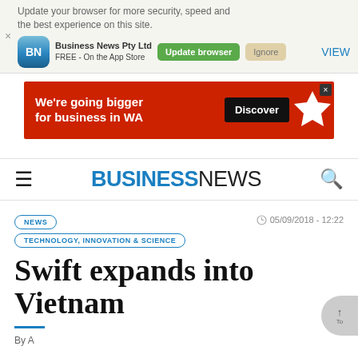Update your browser for more security, speed and the best experience on this site. Business News Pty Ltd · FREE - On the App Store · Update browser · Ignore · VIEW
[Figure (infographic): Red advertisement banner: 'We're going bigger for business in WA' with Discover button and star logo]
BUSINESSNEWS — navigation header with hamburger menu and search icon
NEWS
TECHNOLOGY, INNOVATION & SCIENCE
05/09/2018 - 12:22
Swift expands into Vietnam